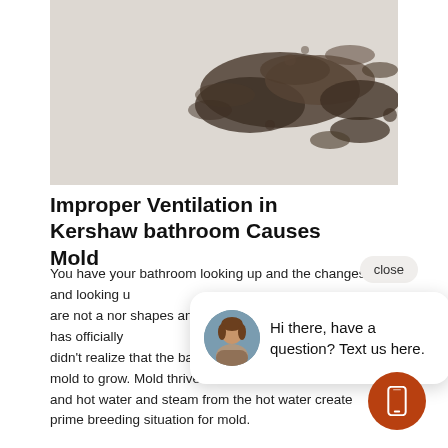[Figure (photo): Photograph of mold stains on a white bathroom ceiling/wall surface, showing dark brownish-black mold patches of various sizes and shapes.]
Improper Ventilation in Kershaw bathroom Causes Mold
You have your bathroom looking up and the changes are not a normal black shapes and has officially didn't realize that the bathroom is the easiest place for mold to grow. Mold thrives on moist and humid areas and hot water and steam from the hot water creates a prime breeding situation for mold.
[Figure (screenshot): Chat popup overlay showing a woman's avatar photo and the text 'Hi there, have a question? Text us here.' with a close button and a phone/text icon FAB button in orange-brown.]